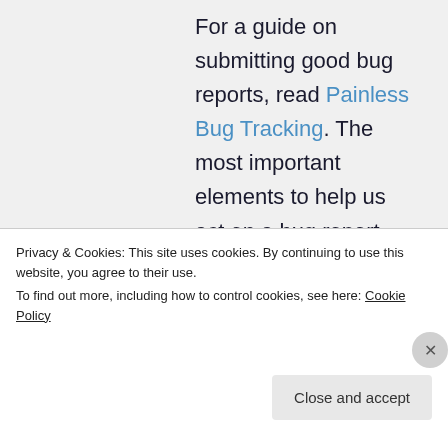For a guide on submitting good bug reports, read Painless Bug Tracking. The most important elements to help us act on a bug report are example code/steps that reproduce the issue, the
Privacy & Cookies: This site uses cookies. By continuing to use this website, you agree to their use.
To find out more, including how to control cookies, see here: Cookie Policy